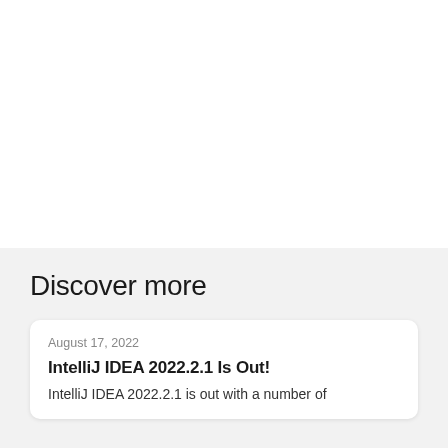Discover more
August 17, 2022
IntelliJ IDEA 2022.2.1 Is Out!
IntelliJ IDEA 2022.2.1 is out with a number of